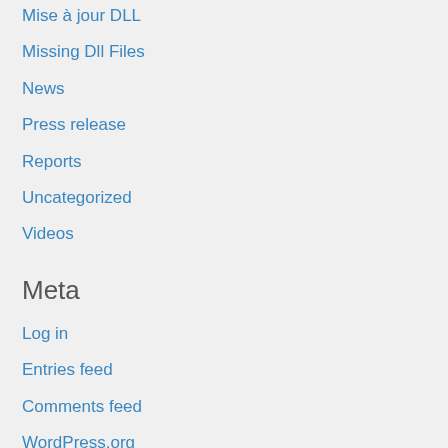Mise à jour DLL
Missing Dll Files
News
Press release
Reports
Uncategorized
Videos
Meta
Log in
Entries feed
Comments feed
WordPress.org